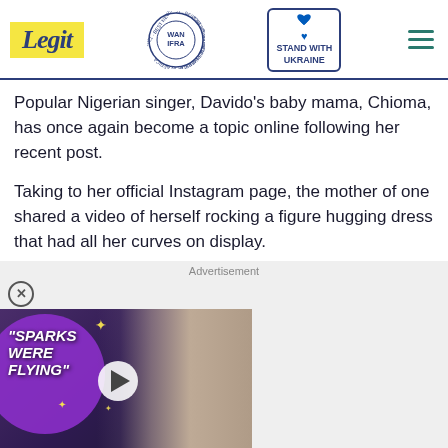Legit — WAN-IFRA 2021 Best News Website in Africa | Stand with Ukraine
Popular Nigerian singer, Davido's baby mama, Chioma, has once again become a topic online following her recent post.
Taking to her official Instagram page, the mother of one shared a video of herself rocking a figure hugging dress that had all her curves on display.
[Figure (screenshot): Advertisement banner with video thumbnail showing text 'SPARKS WERE FLYING' on purple circle, a man in a checked jacket, and a play button. Below is a second advertisement showing 'Hold and Move' game/app.]